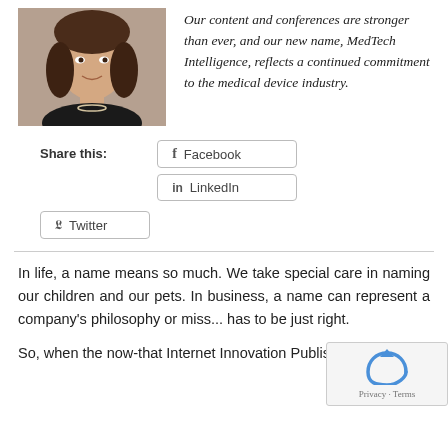[Figure (photo): Professional headshot of a woman with dark hair, wearing a black top and pearl necklace, smiling, against a warm brown background]
Our content and conferences are stronger than ever, and our new name, MedTech Intelligence, reflects a continued commitment to the medical device industry.
Share this:
Facebook
LinkedIn
Twitter
In life, a name means so much. We take special care in naming our children and our pets. In business, a name can represent a company's philosophy or miss... has to be just right.
So, when the now-that Internet Innovation Publishing...